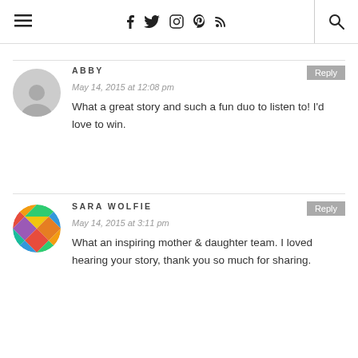≡  f  twitter  instagram  pinterest  rss  🔍
ABBY
May 14, 2015 at 12:08 pm
What a great story and such a fun duo to listen to! I'd love to win.
SARA WOLFIE
May 14, 2015 at 3:11 pm
What an inspiring mother & daughter team. I loved hearing your story, thank you so much for sharing.